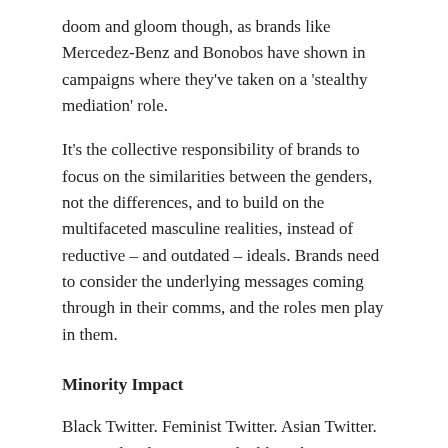doom and gloom though, as brands like Mercedez-Benz and Bonobos have shown in campaigns where they've taken on a 'stealthy mediation' role.
It's the collective responsibility of brands to focus on the similarities between the genders, not the differences, and to build on the multifaceted masculine realities, instead of reductive – and outdated – ideals. Brands need to consider the underlying messages coming through in their comms, and the roles men play in them.
Minority Impact
Black Twitter. Feminist Twitter. Asian Twitter. Marginalised groups are doubling down on their identities and seeking to build and engage with their own consciously created echo chambers. Ones with power not only in their social spaces, but in the real world as well.